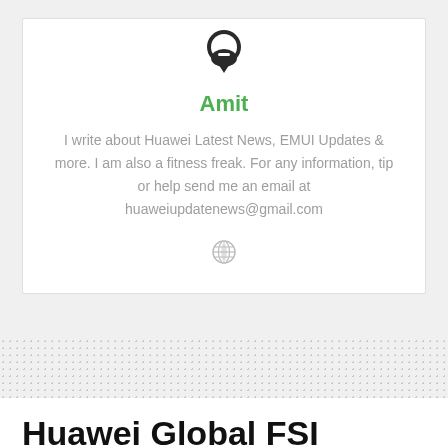[Figure (illustration): Beard icon / avatar silhouette in dark gray/black at top of author card]
Amit
I write about Huawei Latest News, EMUI Updates & more. I am also a fitness freak. For any information, tip or help send me an email at huaweiupdatenews@gmail.com
[Figure (illustration): Small globe/website icon in gray]
Huawei Global FSI Summit 2020 to be held on June 10-